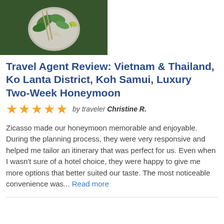[Figure (photo): Aerial view of a bowl of Vietnamese pho or similar Asian noodle dish with fresh herbs, chopsticks, and a lime wedge on a dark surface]
Travel Agent Review: Vietnam & Thailand, Ko Lanta District, Koh Samui, Luxury Two-Week Honeymoon
★★★★★ by traveler Christine R.
Zicasso made our honeymoon memorable and enjoyable. During the planning process, they were very responsive and helped me tailor an itinerary that was perfect for us. Even when I wasn't sure of a hotel choice, they were happy to give me more options that better suited our taste. The most noticeable convenience was... Read more